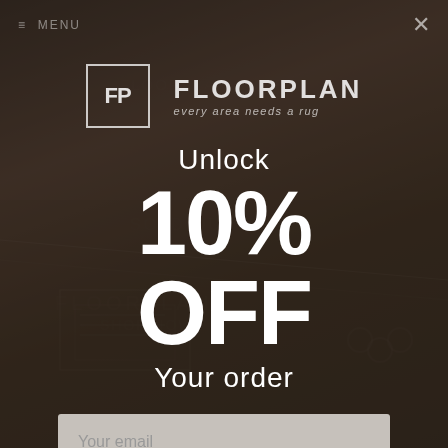[Figure (screenshot): Dark background showing books and rugs with semi-transparent overlay, popup modal for Floorplan rug website discount offer]
≡ MENU
FP FLOORPLAN every area needs a rug
Unlock
10% OFF
Your order
Your email
CONTINUE